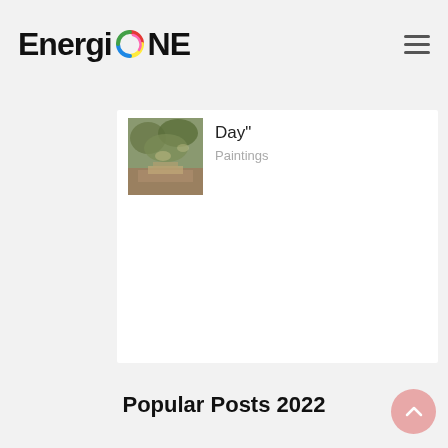EnergiONE
[Figure (logo): EnergiONE logo with colorful spinning arc icon between 'Energi' and 'NE' text]
Day"
Paintings
[Figure (photo): Small thumbnail painting showing a garden or outdoor scene with greenery and brown tones]
Popular Posts 2022